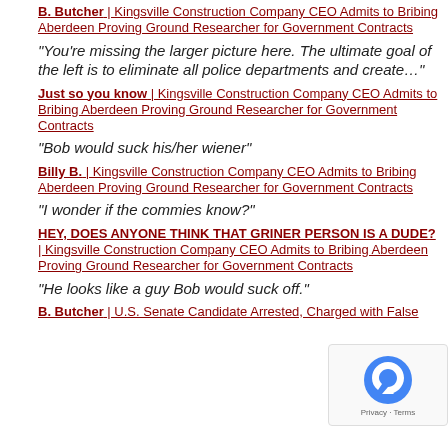B. Butcher | Kingsville Construction Company CEO Admits to Bribing Aberdeen Proving Ground Researcher for Government Contracts
"You're missing the larger picture here. The ultimate goal of the left is to eliminate all police departments and create…"
Just so you know | Kingsville Construction Company CEO Admits to Bribing Aberdeen Proving Ground Researcher for Government Contracts
"Bob would suck his/her wiener"
Billy B. | Kingsville Construction Company CEO Admits to Bribing Aberdeen Proving Ground Researcher for Government Contracts
"I wonder if the commies know?"
HEY, DOES ANYONE THINK THAT GRINER PERSON IS A DUDE? | Kingsville Construction Company CEO Admits to Bribing Aberdeen Proving Ground Researcher for Government Contracts
"He looks like a guy Bob would suck off."
B. Butcher | U.S. Senate Candidate Arrested, Charged with False…